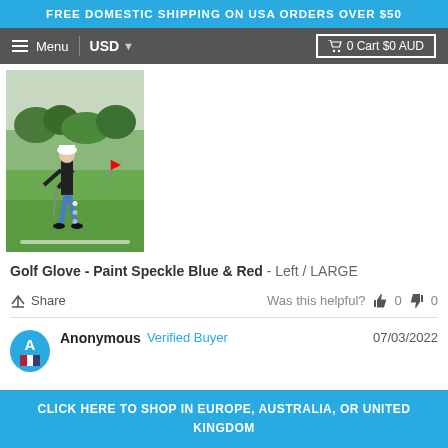FREE DOMESTIC SHIPPING ON USA ORDERS OVER $50
Menu  USD  0 Cart $0 AUD
[Figure (photo): A person playing golf on a green golf course, shown from the side, wearing a white cap and dark shorts.]
Golf Glove - Paint Speckle Blue & Red - Left / LARGE
Share  Was this helpful?  0  0
Anonymous  Verified Buyer  07/03/2022
CLICK HERE TO SHOP IN EUROPE, AUSTRALIA, OR UNITED KINGDOM